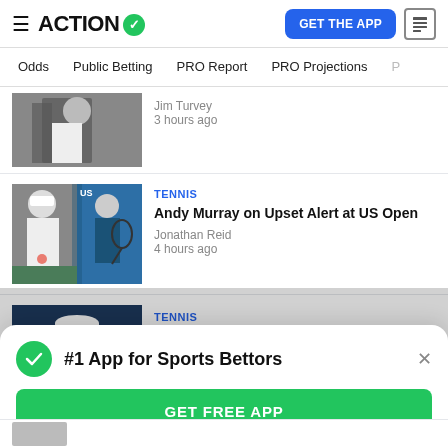ACTION (logo with checkmark) | GET THE APP | news icon
Odds | Public Betting | PRO Report | PRO Projections
[Figure (photo): Tennis player partial image cropped at top]
Jim Turvey
3 hours ago
[Figure (photo): Andy Murray and another tennis player at US Open]
TENNIS
Andy Murray on Upset Alert at US Open
Jonathan Reid
4 hours ago
[Figure (photo): Tennis player with white cap on dark blue background]
TENNIS
#1 App for Sports Bettors
GET FREE APP